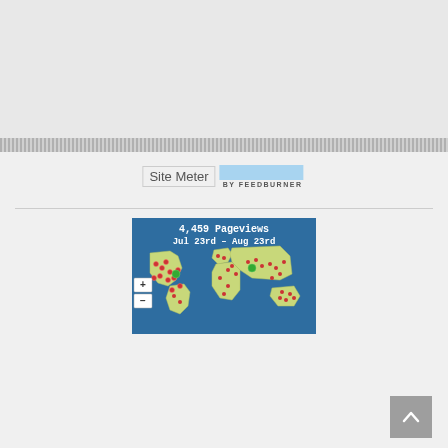[Figure (other): Top light gray panel, empty content area]
[Figure (infographic): Site Meter logo placeholder and FeedBurner badge with light blue rectangle and 'BY FEEDBURNER' text]
[Figure (map): World map widget showing '4,459 Pageviews Jul 23rd – Aug 23rd' on a blue background with a world map displaying red dot markers and two green dots indicating visitor locations, with zoom controls (+/-) on the left side]